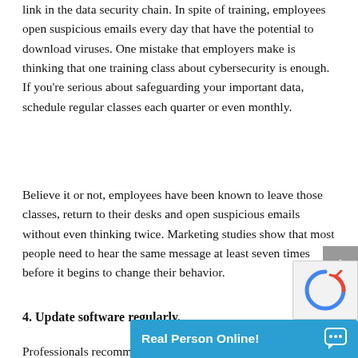According to recent surveys, employees are the weakest link in the data security chain. In spite of training, employees open suspicious emails every day that have the potential to download viruses. One mistake that employers make is thinking that one training class about cybersecurity is enough. If you're serious about safeguarding your important data, schedule regular classes each quarter or even monthly.
Believe it or not, employees have been known to leave those classes, return to their desks and open suspicious emails without even thinking twice. Marketing studies show that most people need to hear the same message at least seven times before it begins to change their behavior.
4. Update software regularly.
Professionals recomme...